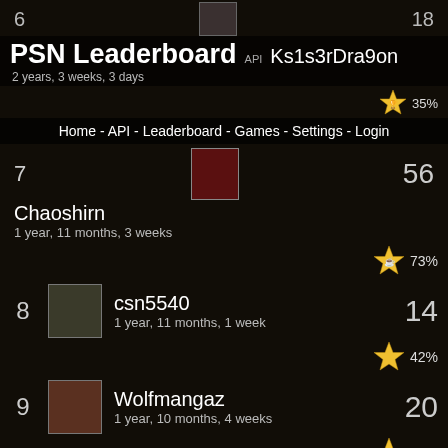PSN Leaderboard
API Ks1s3rDra9on
2 years, 3 weeks, 3 days
Home - API - Leaderboard - Games - Settings - Login
7  56
Chaoshirn
1 year, 11 months, 3 weeks
73%
8  csn5540
1 year, 11 months, 1 week
14
42%
9  Wolfmangaz
1 year, 10 months, 4 weeks
20
16%
10  24